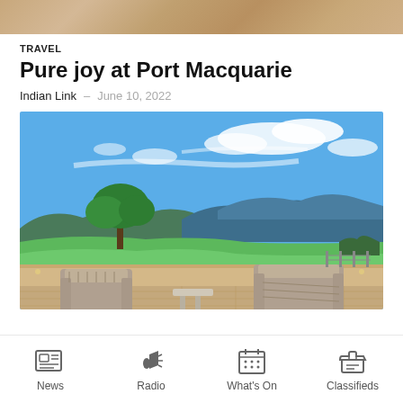[Figure (photo): Top strip showing sandy/rocky texture background image, partially cropped]
TRAVEL
Pure joy at Port Macquarie
Indian Link  -  June 10, 2022
[Figure (photo): Outdoor terrace with wicker chairs overlooking green hills and blue mountain ranges under a blue sky with wispy clouds]
News  Radio  What's On  Classifieds